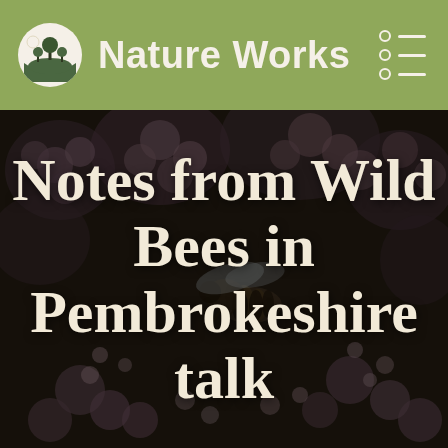Nature Works
[Figure (photo): Close-up photograph of a bee on pink flowers (likely Verbena or similar), with dark blurred background. The image is darkened/dimmed to serve as a background for overlaid text.]
Notes from Wild Bees in Pembrokeshire talk